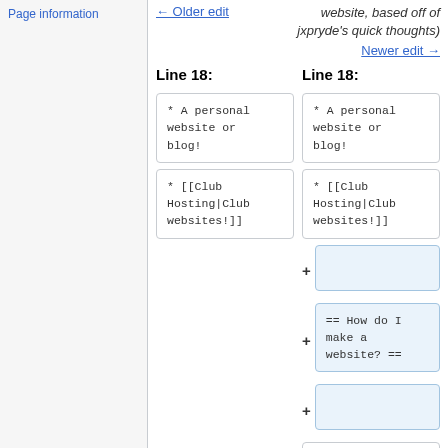Page information
← Older edit
website, based off of jxpryde's quick thoughts)
Newer edit →
Line 18:
Line 18:
* A personal website or blog!
* A personal website or blog!
* [[Club Hosting|Club websites!]]
* [[Club Hosting|Club websites!]]
== How do I make a website? ==
If this is